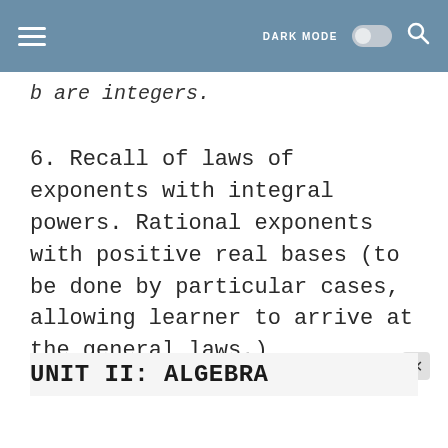DARK MODE [toggle] [search]
b are integers.
6. Recall of laws of exponents with integral powers. Rational exponents with positive real bases (to be done by particular cases, allowing learner to arrive at the general laws.)
UNIT II: ALGEBRA